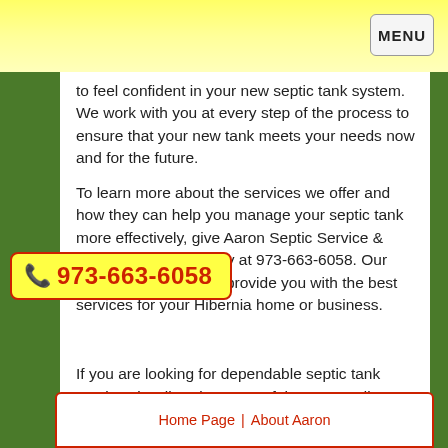MENU
to feel confident in your new septic tank system. We work with you at every step of the process to ensure that your new tank meets your needs now and for the future.
To learn more about the services we offer and how they can help you manage your septic tank more effectively, give Aaron Septic Service & Excavation a call today at 973-663-6058. Our team will be happy to provide you with the best services for your Hibernia home or business.
If you are looking for dependable septic tank services in Hibernia or any of the surrounding communities, give [Aaron Septic Service] a call today at 973-663-6058. We look forward to the chance to serve you.
📞 973-663-6058
Home Page | About Aaron